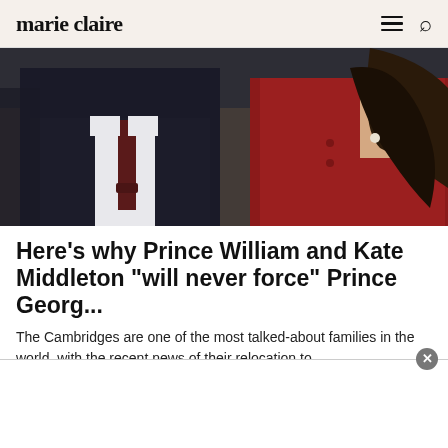marie claire
[Figure (photo): Prince William in a dark suit and tie alongside Kate Middleton in a red coat, shown from the shoulders/chest up, outdoors]
Here's why Prince William and Kate Middleton "will never force" Prince Georg...
The Cambridges are one of the most talked-about families in the world, with the recent news of their relocation to ...
Marie Claire
[Figure (illustration): Partial view of an illustrated/cartoon character with reddish-brown hair visible at the bottom of the page]
[Figure (other): White advertisement banner overlay at the bottom of the screen with a close (x) button]